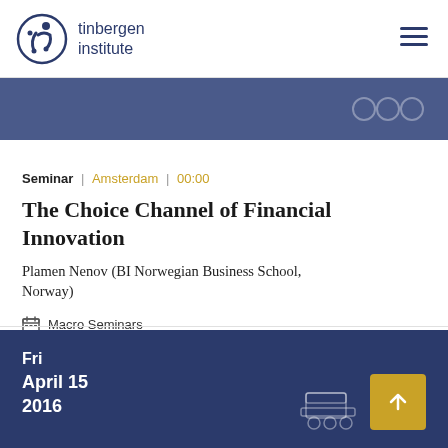tinbergen institute
Seminar | Amsterdam | 00:00
The Choice Channel of Financial Innovation
Plamen Nenov (BI Norwegian Business School, Norway)
Macro Seminars
Fri
April 15
2016